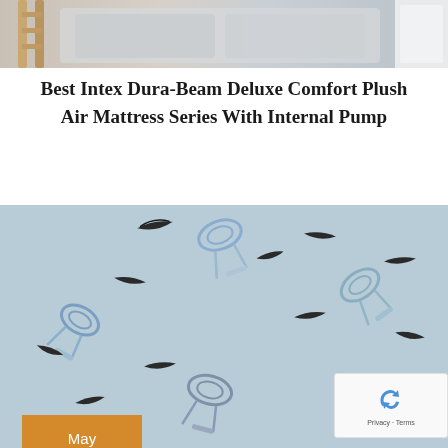[Figure (photo): Top portion of a photo showing a bed/mattress with wooden frame elements and light gray bedding, cropped at the bottom]
Best Intex Dura-Beam Deluxe Comfort Plush Air Mattress Series With Internal Pump
[Figure (photo): Photo showing eyelash curlers and false eyelashes pattern on a light blue background, with an orange date badge overlay showing May 15 2022, and a reCAPTCHA badge in the bottom right corner]